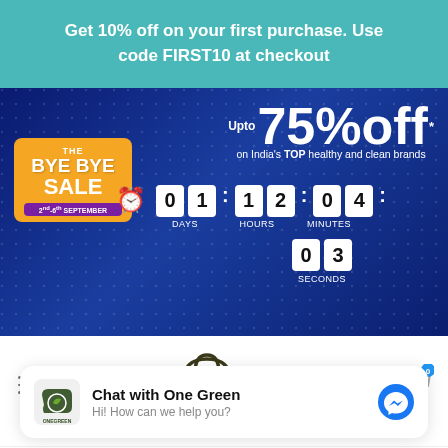Get 10% off on your first purchase. Use code FIRST10 at checkout
[Figure (infographic): The Bye Bye Sale promotional banner showing up to 75% off on India's TOP healthy and clean brands with a countdown timer showing 01 days, 12 hours, 04 minutes, 03 seconds. Sale dates 2nd-6th September.]
[Figure (logo): OneGreen shopping bag logo with navigation hamburger menu, user icon, and cart icon showing 0 items]
Chat with One Green
Hi! How can we help you?